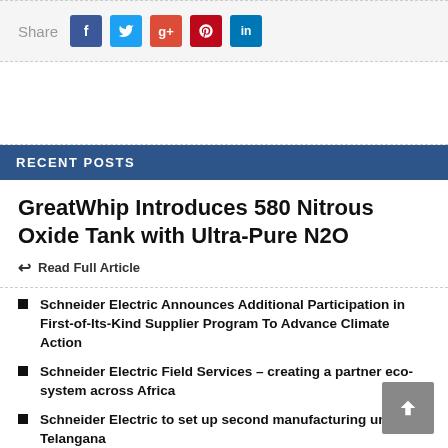Share [Facebook] [Twitter] [Google+] [Pinterest] [LinkedIn]
RECENT POSTS
GreatWhip Introduces 580 Nitrous Oxide Tank with Ultra-Pure N2O
Read Full Article
Schneider Electric Announces Additional Participation in First-of-Its-Kind Supplier Program To Advance Climate Action
Schneider Electric Field Services – creating a partner eco-system across Africa
Schneider Electric to set up second manufacturing unit in Telangana
Impact Windows of Cape Coral Launches Newly Redesigned